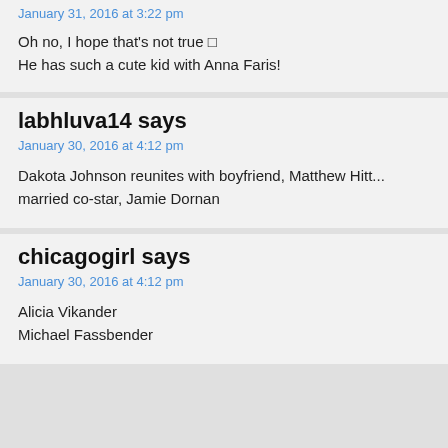January 31, 2016 at 3:22 pm
Oh no, I hope that's not true 🙁
He has such a cute kid with Anna Faris!
labhluva14 says
January 30, 2016 at 4:12 pm
Dakota Johnson reunites with boyfriend, Matthew Hitt...
married co-star, Jamie Dornan
chicagogirl says
January 30, 2016 at 4:12 pm
Alicia Vikander
Michael Fassbender